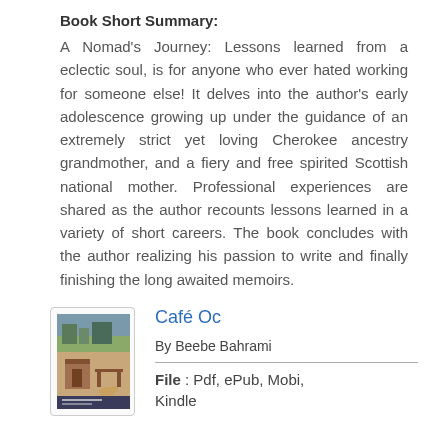Book Short Summary:
A Nomad's Journey: Lessons learned from a eclectic soul, is for anyone who ever hated working for someone else! It delves into the author's early adolescence growing up under the guidance of an extremely strict yet loving Cherokee ancestry grandmother, and a fiery and free spirited Scottish national mother. Professional experiences are shared as the author recounts lessons learned in a variety of short careers. The book concludes with the author realizing his passion to write and finally finishing the long awaited memoirs.
Café Oc
By Beebe Bahrami
File : Pdf, ePub, Mobi, Kindle